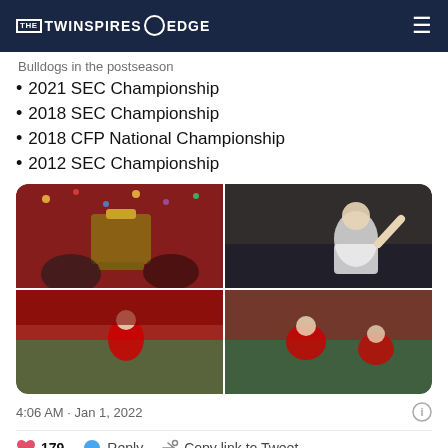THE TWINSPIRES @ EDGE
Bulldogs in the postseason
2021 SEC Championship
2018 SEC Championship
2018 CFP National Championship
2012 SEC Championship
[Figure (photo): Four-panel photo collage of Alabama football championship moments: top-left players holding SEC trophy with confetti, top-right quarterback celebrating with crowd, bottom-left player running in stadium, bottom-right players on field during game.]
4:06 AM · Jan 1, 2022
♥ 179   Reply   Copy link to Tweet